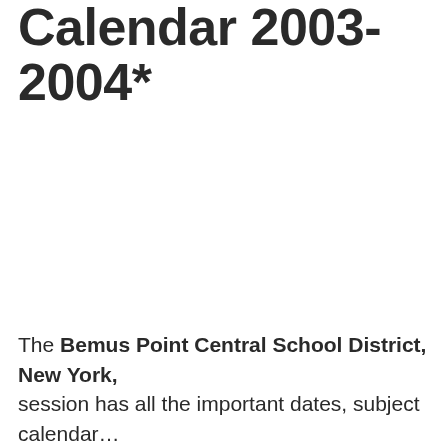Calendar 2003-2004*
The Bemus Point Central School District, New York, session has all the important dates, subject calendar…